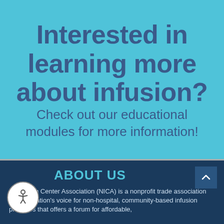Interested in learning more about infusion?
Check out our educational modules for more information!
ABOUT US
al Infusion Center Association (NICA) is a nonprofit trade association and the nation's voice for non-hospital, community-based infusion providers that offers a forum for affordable,